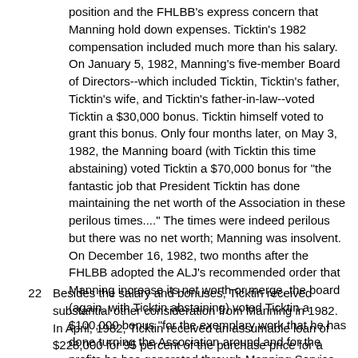position and the FHLBB's express concern that Manning hold down expenses. Ticktin's 1982 compensation included much more than his salary. On January 5, 1982, Manning's five-member Board of Directors--which included Ticktin, Ticktin's father, Ticktin's wife, and Ticktin's father-in-law--voted Ticktin a $30,000 bonus. Ticktin himself voted to grant this bonus. Only four months later, on May 3, 1982, the Manning board (with Ticktin this time abstaining) voted Ticktin a $70,000 bonus for "the fantastic job that President Ticktin has done maintaining the net worth of the Association in these perilous times...." The times were indeed perilous but there was no net worth; Manning was insolvent. On December 16, 1982, two months after the FHLBB adopted the ALJ's recommended order that Manning increase its net worth or merge, the board (again, with Ticktin abstaining) voted Ticktin a $100,000 bonus "for the exemplary work that he has done turning the Association around and for the profits he has generated through Manning Service Corporation." The bonus was paid to Ticktin on January 26, 1983; one week later, the FSLIC closed Manning down.
22  Besides the salary and bonuses, Ticktin received substantial other consideration from Manning in 1982. In April, 1982, Ticktin received an assumable loan of $228,000 for 95 percent of the purchase price for a condominium in Scottsdale, Arizona. To help cover his Arizona